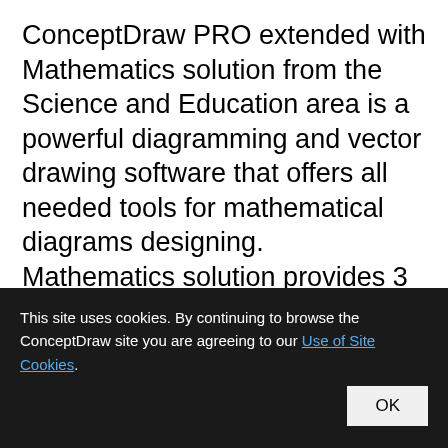ConceptDraw PRO extended with Mathematics solution from the Science and Education area is a powerful diagramming and vector drawing software that offers all needed tools for mathematical diagrams designing. Mathematics solution provides 3 libraries with predesigned vector mathematics symbols and figures: Solid Geometry Library, Plane Geometry
This site uses cookies. By continuing to browse the ConceptDraw site you are agreeing to our Use of Site Cookies.